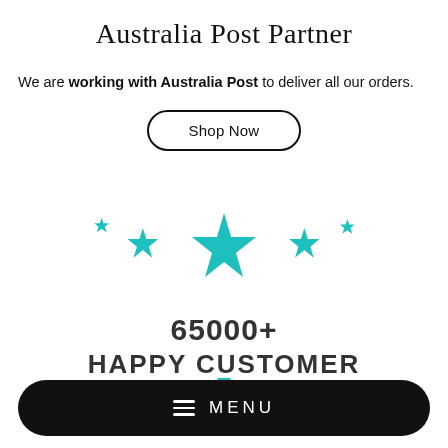Australia Post Partner
We are working with Australia Post to deliver all our orders.
Shop Now
[Figure (illustration): Five teal stars in ascending then descending size arrangement, with the center star being the largest, representing a 5-star rating graphic.]
65000+
HAPPY CUSTOMER
MENU